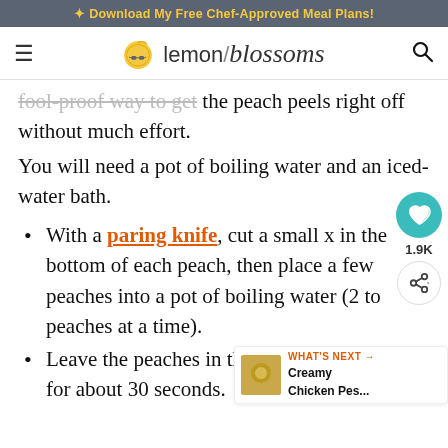* Download My Free Chef-Approved Meal Plans!
[Figure (logo): Lemon Blossoms website logo with lemon icon and stylized text]
fool-proof way to get the peach peels right off without much effort.
You will need a pot of boiling water and an iced-water bath.
With a paring knife, cut a small x in the bottom of each peach, then place a few peaches into a pot of boiling water (2 to peaches at a time).
Leave the peaches in the hot boiling water for about 30 seconds.